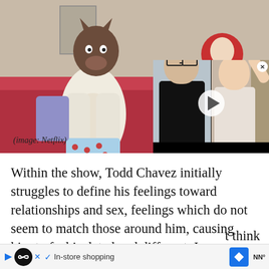[Figure (screenshot): Screenshot of an animated TV show (BoJack Horseman on Netflix) showing cartoon characters on a red sofa, with a video call overlay showing two people. Subtitle text reads 'I am as...']
(image: Netflix)
Within the show, Todd Chavez initially struggles to define his feelings toward relationships and sex, feelings which do not seem to match those around him, causing him to feel isolated and different. In a conversation where Todd and another character discuss his potential sexuality, Todd tries to explain his ambiguous state of questioning, quoting "I'm not gay,
[Figure (screenshot): Ad banner: In-store shopping advertisement with Google/navigation icons]
t think